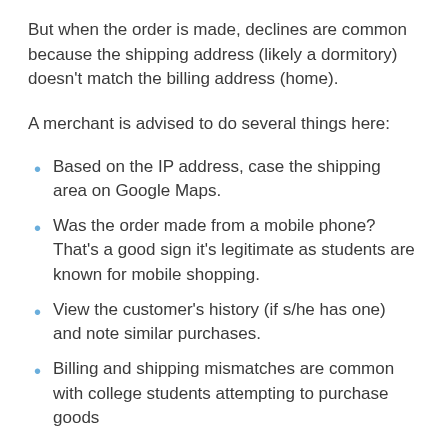But when the order is made, declines are common because the shipping address (likely a dormitory) doesn't match the billing address (home).
A merchant is advised to do several things here:
Based on the IP address, case the shipping area on Google Maps.
Was the order made from a mobile phone? That's a good sign it's legitimate as students are known for mobile shopping.
View the customer's history (if s/he has one) and note similar purchases.
Billing and shipping mismatches are common with college students attempting to purchase goods